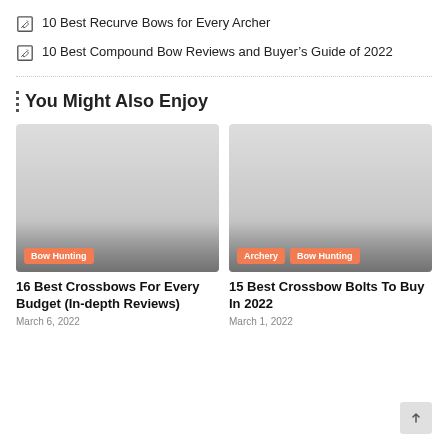10 Best Recurve Bows for Every Archer
10 Best Compound Bow Reviews and Buyer's Guide of 2022
You Might Also Enjoy
[Figure (photo): Card image placeholder for 16 Best Crossbows For Every Budget article with Bow Hunting tag]
16 Best Crossbows For Every Budget (In-depth Reviews)
March 6, 2022
[Figure (photo): Card image placeholder for 15 Best Crossbow Bolts To Buy In 2022 article with Archery and Bow Hunting tags]
15 Best Crossbow Bolts To Buy In 2022
March 1, 2022